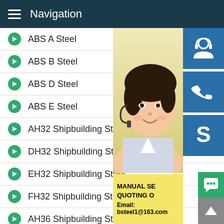Navigation
ABS A Steel
ABS B Steel
ABS D Steel
ABS E Steel
AH32 Shipbuilding Steel
DH32 Shipbuilding Steel
EH32 Shipbuilding Steel
FH32 Shipbuilding Steel
AH36 Shipbuilding Steel
DH36 Shipbuilding Steel
EH36 Shipbuilding Steel
FH36 Shipbuilding Steel (partial)
[Figure (photo): Customer service representative - woman with headset smiling]
[Figure (illustration): Blue customer service icon button (headset person)]
[Figure (illustration): Blue phone icon button]
[Figure (illustration): Blue Skype icon button]
MANUAL SE... QUOTING O... Email: bsteel1@163.com
[Figure (illustration): Green chat bubble button]
[Figure (illustration): Gray up arrow button]